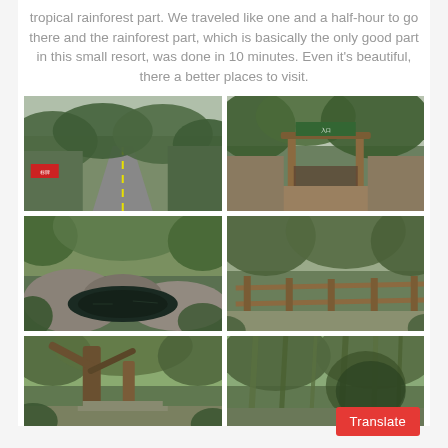tropical rainforest part. We traveled like one and a half-hour to go there and the rainforest part, which is basically the only good part in this small resort, was done in 10 minutes. Even it's beautiful, there a better places to visit.
[Figure (photo): Road with arching trees forming a tunnel, red sign on left side, lush green canopy]
[Figure (photo): Wooden torii-style gate entrance with sign, surrounded by tropical greenery]
[Figure (photo): Rocky stream pool with dark water, surrounded by rocks and tropical vegetation]
[Figure (photo): Wooden fence path/walkway through dense tropical forest with steps]
[Figure (photo): Tall trees with a stairway visible through tropical forest undergrowth]
[Figure (photo): Dense hanging vines and tropical forest vegetation]